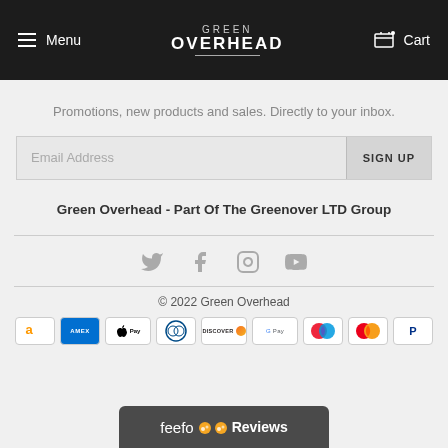Menu | GREEN OVERHEAD | Cart
Promotions, new products and sales. Directly to your inbox.
Email Address    SIGN UP
Green Overhead - Part Of The Greenover LTD Group
[Figure (infographic): Social media icons: Twitter, Facebook, Instagram, YouTube]
© 2022 Green Overhead
[Figure (infographic): Payment method logos: Amazon, Amex, Apple Pay, Diners Club, Discover, Google Pay, Maestro, Mastercard, PayPal]
[Figure (logo): Feefo Reviews bar at bottom]